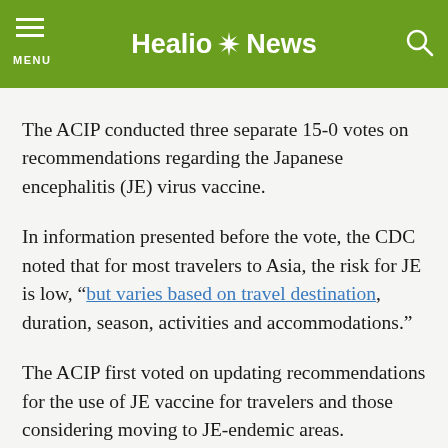Healio News
The ACIP conducted three separate 15-0 votes on recommendations regarding the Japanese encephalitis (JE) virus vaccine.
In information presented before the vote, the CDC noted that for most travelers to Asia, the risk for JE is low, “but varies based on travel destination, duration, season, activities and accommodations.”
The ACIP first voted on updating recommendations for the use of JE vaccine for travelers and those considering moving to JE-endemic areas.